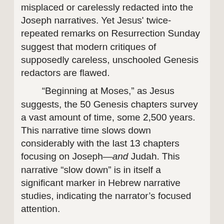misplaced or carelessly redacted into the Joseph narratives. Yet Jesus' twice-repeated remarks on Resurrection Sunday suggest that modern critiques of supposedly careless, unschooled Genesis redactors are flawed.
“Beginning at Moses,” as Jesus suggests, the 50 Genesis chapters survey a vast amount of time, some 2,500 years. This narrative time slows down considerably with the last 13 chapters focusing on Joseph—and Judah. This narrative “slow down” is in itself a significant marker in Hebrew narrative studies, indicating the narrator’s focused attention.
Others who criticize any reading of Jesus back into the Old Testament are also mistaken if Jesus’ directives are taken seriously—for He insists that the Old Testament is about Him. Though authorship of the Pentateuch has long been argued, this study assumes Mosaic authorship, with the Pentateuch being a primary part of Scripture’s system of truth, allowing Messianism as a possible motif.
The first divine promise after sin in Genesis 3:15